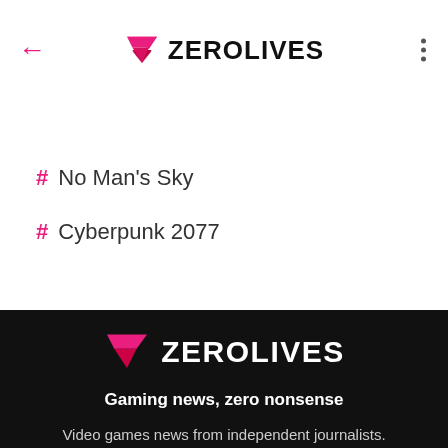← ZEROLIVES ⋮
# No Man's Sky
# Cyberpunk 2077
[Figure (logo): ZeroLives logo: pink/red chevron-arrow icon followed by ZEROLIVES in white bold text]
Gaming news, zero nonsense
Video games news from independent journalists.
ZeroLives.com is a company from Moonlight Multimedia.
FIND US ON